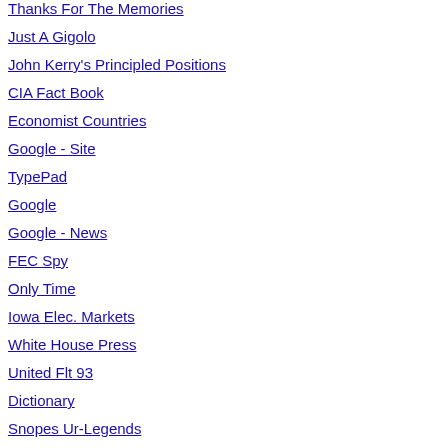Thanks For The Memories
Just A Gigolo
John Kerry's Principled Positions
CIA Fact Book
Economist Countries
Google - Site
TypePad
Google
Google - News
FEC Spy
Only Time
Iowa Elec. Markets
White House Press
United Flt 93
Dictionary
Snopes Ur-Legends
Technorati
Gamblers Anon
delivery, like he was reading...
Post
[Figure (photo): Old black and white photo of people]
I am going back to bed for a l
Post
[Figure (logo): Ohio State athletic logo - red block O with OHIOSTATE text]
Balmy -3F in the 'hood right n
Warming to mid-high teens th
Off to the Orthopedic guy so ... on my X-rays.
[Figure (photo): Small airplane flying over water]
I believe God allows evil to flo... hard lessons. After Stalin, Hit... up and says "Hold my beer..."
[Figure (photo): Small airplane flying over water (second instance)]
It's -27 in Minneapolis. My fu... for warmth. Some folks in No...